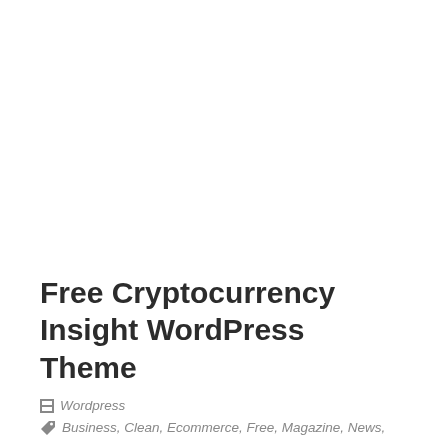Free Cryptocurrency Insight WordPress Theme
Wordpress
Business, Clean, Ecommerce, Free, Magazine, News,